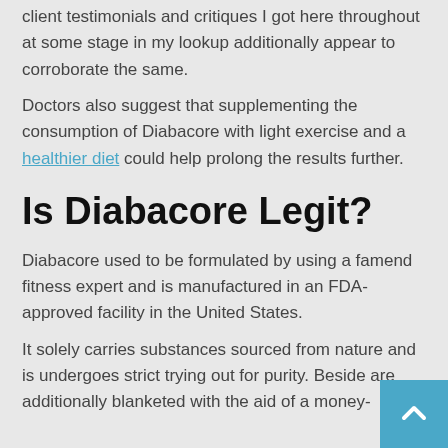client testimonials and critiques I got here throughout at some stage in my lookup additionally appear to corroborate the same.
Doctors also suggest that supplementing the consumption of Diabacore with light exercise and a healthier diet could help prolong the results further.
Is Diabacore Legit?
Diabacore used to be formulated by using a famend fitness expert and is manufactured in an FDA-approved facility in the United States.
It solely carries substances sourced from nature and is undergoes strict trying out for purity. Beside are additionally blanketed with the aid of a money-